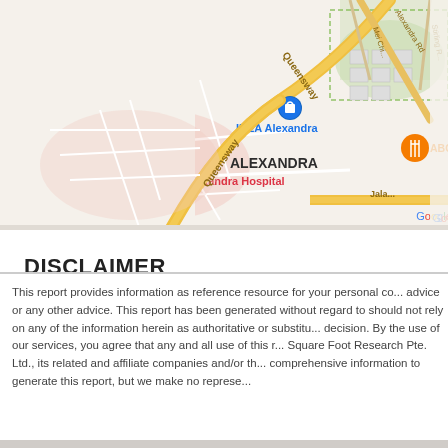[Figure (map): Google Maps screenshot showing Alexandra area in Singapore. Visible labels include Queensway road, IKEA Alexandra with blue shopping bag pin, Alexandra Hospital with red H marker, ALEXANDRA district label, ABC Br(unch) restaurant with orange fork/knife icon, Mei Chi road, Stirling Road, Alexandra Rd, and Jala... road. Google logo visible bottom-left of map.]
DISCLAIMER
This report provides information as reference resource for your personal co... advice or any other advice. This report has been generated without regard to should not rely on any of the information herein as authoritative or substitu... decision. By the use of our services, you agree that any and all use of this r... Square Foot Research Pte. Ltd., its related and affiliate companies and/or th... comprehensive information to generate this report, but we make no represe...